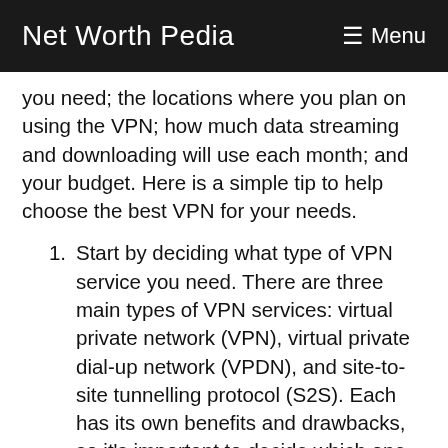Net Worth Pedia   ☰ Menu
you need; the locations where you plan on using the VPN; how much data streaming and downloading will use each month; and your budget. Here is a simple tip to help choose the best VPN for your needs.
Start by deciding what type of VPN service you need. There are three main types of VPN services: virtual private network (VPN), virtual private dial-up network (VPDN), and site-to-site tunnelling protocol (S2S). Each has its own benefits and drawbacks, so it's important to decide which one is right for you before investing in a subscription.